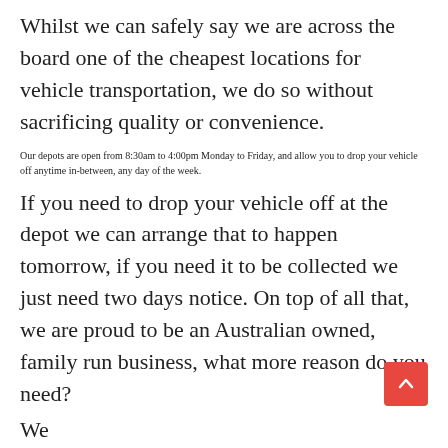Whilst we can safely say we are across the board one of the cheapest locations for vehicle transportation, we do so without sacrificing quality or convenience.
Our depots are open from 8:30am to 4:00pm Monday to Friday, and allow you to drop your vehicle off anytime in-between, any day of the week.
If you need to drop your vehicle off at the depot we can arrange that to happen tomorrow, if you need it to be collected we just need two days notice. On top of all that, we are proud to be an Australian owned, family run business, what more reason do you need?
We...